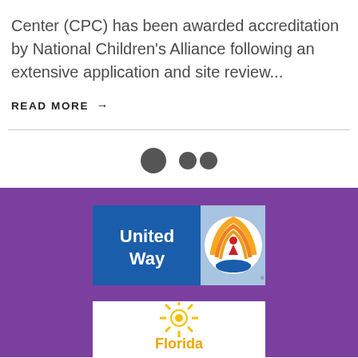Center (CPC) has been awarded accreditation by National Children's Alliance following an extensive application and site review...
READ MORE →
[Figure (other): Pagination dots — one large dark circle and two smaller overlapping dark circles]
[Figure (logo): United Way logo — blue background with white 'United Way' text and circular orange/rainbow icon with red figure and blue hand]
[Figure (logo): Florida logo — white background with yellow sunburst and 'Florida' text in orange/yellow]